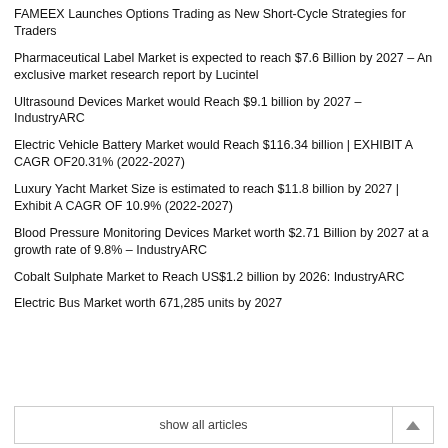FAMEEX Launches Options Trading as New Short-Cycle Strategies for Traders
Pharmaceutical Label Market is expected to reach $7.6 Billion by 2027 – An exclusive market research report by Lucintel
Ultrasound Devices Market would Reach $9.1 billion by 2027 – IndustryARC
Electric Vehicle Battery Market would Reach $116.34 billion | EXHIBIT A CAGR OF20.31% (2022-2027)
Luxury Yacht Market Size is estimated to reach $11.8 billion by 2027 | Exhibit A CAGR OF 10.9% (2022-2027)
Blood Pressure Monitoring Devices Market worth $2.71 Billion by 2027 at a growth rate of 9.8% – IndustryARC
Cobalt Sulphate Market to Reach US$1.2 billion by 2026: IndustryARC
Electric Bus Market worth 671,285 units by 2027
show all articles